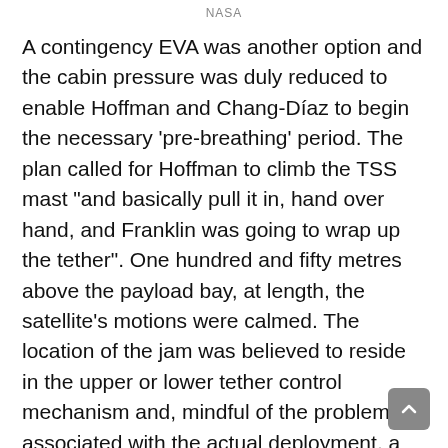NASA
A contingency EVA was another option and the cabin pressure was duly reduced to enable Hoffman and Chang-Díaz to begin the necessary ‘pre-breathing’ period. The plan called for Hoffman to climb the TSS mast “and basically pull it in, hand over hand, and Franklin was going to wrap up the tether”. One hundred and fifty metres above the payload bay, at length, the satellite’s motions were calmed. The location of the jam was believed to reside in the upper or lower tether control mechanism and, mindful of the problems associated with the actual deployment, a consensus was reached to clear the glitch and bring the satellite back into the payload bay. “The motor that extends the boom was actually more powerful